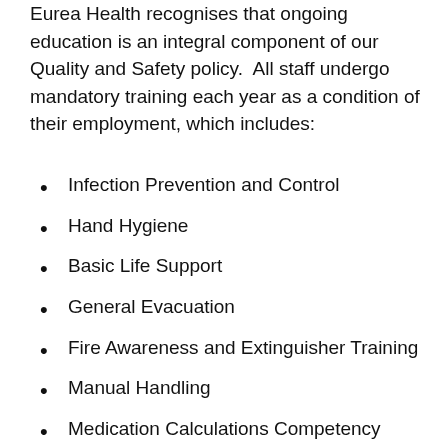Eurea Health recognises that ongoing education is an integral component of our Quality and Safety policy.  All staff undergo mandatory training each year as a condition of their employment, which includes:
Infection Prevention and Control
Hand Hygiene
Basic Life Support
General Evacuation
Fire Awareness and Extinguisher Training
Manual Handling
Medication Calculations Competency
Open Disclosure and Management of Adverse